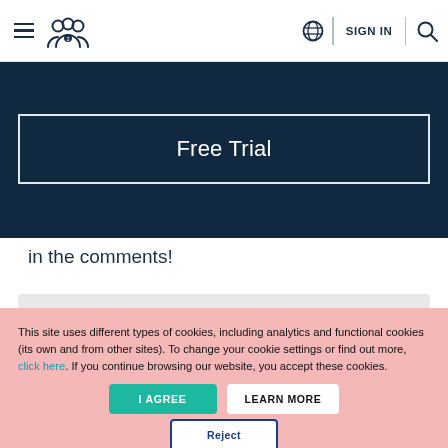≡ [people icon] | [globe] SIGN IN | [search]
Free Trial
in the comments!
This site uses different types of cookies, including analytics and functional cookies (its own and from other sites). To change your cookie settings or find out more, click here. If you continue browsing our website, you accept these cookies.
I AGREE
LEARN MORE
Reject